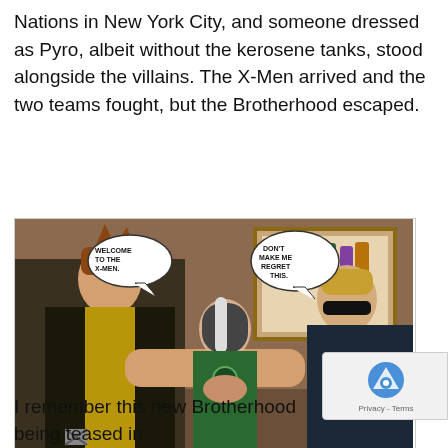Nations in New York City, and someone dressed as Pyro, albeit without the kerosene tanks, stood alongside the villains. The X-Men arrived and the two teams fought, but the Brotherhood escaped.
[Figure (illustration): Comic book art showing three characters: a muscular man in a black and gold costume on the left with speech bubble 'WELCOME TO THE X-MEN.', a woman with white-streaked hair in the center, and a man in a dark jacket on the right with speech bubble 'DON'T MAKE ME REGRET THIS.' They appear to be shaking hands. A framed picture of a group of X-Men is visible in the background.]
Um, actually, that's not how the line goes. Art by Thony Silas.
I remember this new Brotherhood being teased in